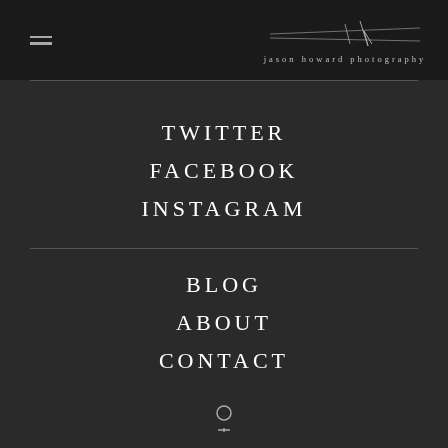jason howard photography
TWITTER
FACEBOOK
INSTAGRAM
BLOG
ABOUT
CONTACT